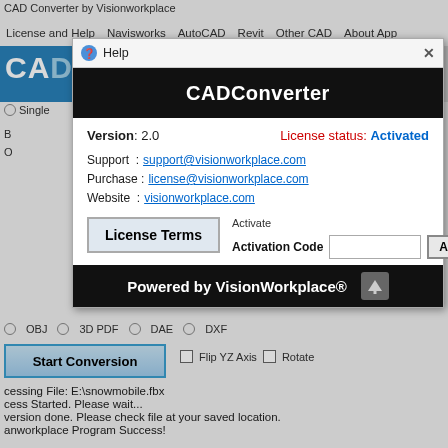CAD Converter by Visionworkplace
License and Help   Navisworks   AutoCAD   Revit   Other CAD   About App
[Figure (screenshot): Help dialog for CADConverter software showing version 2.0, license status Activated, support/purchase/website links, License Terms button, Activation Code input field, Activate button, and Powered by VisionWorkplace footer]
Start Conversion   Flip YZ Axis   Rotate
cessing File: E:\snowmobile.fbx
cess Started. Please wait...
version done. Please check file at your saved location.
anworkplace Program Success!